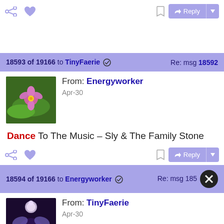[Figure (screenshot): Social forum thread screenshot showing message toolbar with share, heart, bookmark, and Reply button at top]
18593 of 19166 to TinyFaerie ✓  Re: msg 18592
From: Energyworker
Apr-30
Dance To The Music – Sly & The Family Stone
18594 of 19166 to Energyworker ✓  Re: msg 185...
From: TinyFaerie
Apr-30